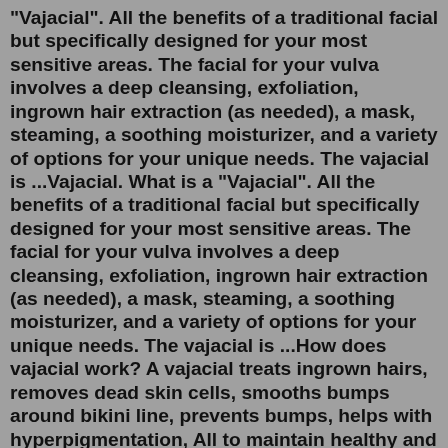"Vajacial". All the benefits of a traditional facial but specifically designed for your most sensitive areas. The facial for your vulva involves a deep cleansing, exfoliation, ingrown hair extraction (as needed), a mask, steaming, a soothing moisturizer, and a variety of options for your unique needs. The vajacial is ...Vajacial. What is a "Vajacial". All the benefits of a traditional facial but specifically designed for your most sensitive areas. The facial for your vulva involves a deep cleansing, exfoliation, ingrown hair extraction (as needed), a mask, steaming, a soothing moisturizer, and a variety of options for your unique needs. The vajacial is ...How does vajacial work? A vajacial treats ingrown hairs, removes dead skin cells, smooths bumps around bikini line, prevents bumps, helps with hyperpigmentation, All to maintain healthy and hydrated skin in the vaginal area. What are the benefits of vajacial? Hyperpigmentation/Dark spots Inflammation The Firming Vajacial Kit is a treatment to promote the skin´s firmness. It tightens and revitalizes the skin for a smooth and youthful